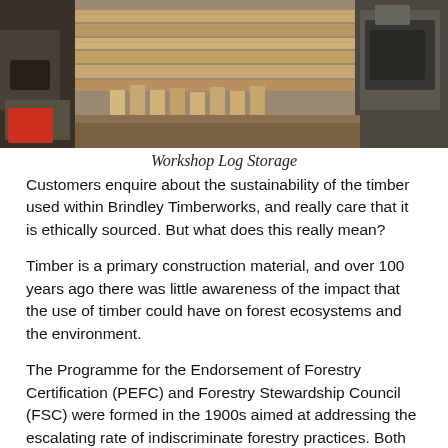[Figure (photo): Workshop interior showing timber/lumber being processed on machinery, with wooden planks and equipment visible in an industrial woodworking setting.]
Workshop Log Storage
Customers enquire about the sustainability of the timber used within Brindley Timberworks, and really care that it is ethically sourced. But what does this really mean?
Timber is a primary construction material, and over 100 years ago there was little awareness of the impact that the use of timber could have on forest ecosystems and the environment.
The Programme for the Endorsement of Forestry Certification (PEFC) and Forestry Stewardship Council (FSC) were formed in the 1900s aimed at addressing the escalating rate of indiscriminate forestry practices. Both the PEFC and FSC are world recognised schemes, assisting in maintaining and regulating sustainable forestry